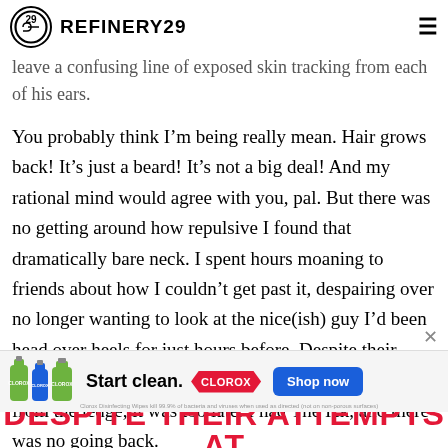REFINERY29
something that had also been pulled out of a mint julep dress leave a confusing line of exposed skin tracking from each of his ears.
You probably think I’m being really mean. Hair grows back! It’s just a beard! It’s not a big deal! And my rational mind would agree with you, pal. But there was no getting around how repulsive I found that dramatically bare neck. I spent hours moaning to friends about how I couldn’t get past it, despairing over no longer wanting to look at the nice(ish) guy I’d been head over heels for just hours before. Despite their attempts at reassurance, advice and talking me down from the ledge, it was too late. I had The Ick, and there was no going back.
[Figure (screenshot): Clorox advertisement banner: Clorox product bottles image, 'Start clean.' text, Clorox diamond logo, 'Shop now' blue button]
DESPITE THEIR ATTEMPTS AT